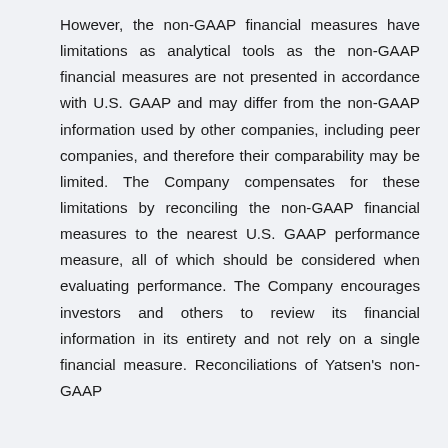However, the non-GAAP financial measures have limitations as analytical tools as the non-GAAP financial measures are not presented in accordance with U.S. GAAP and may differ from the non-GAAP information used by other companies, including peer companies, and therefore their comparability may be limited. The Company compensates for these limitations by reconciling the non-GAAP financial measures to the nearest U.S. GAAP performance measure, all of which should be considered when evaluating performance. The Company encourages investors and others to review its financial information in its entirety and not rely on a single financial measure. Reconciliations of Yatsen's non-GAAP